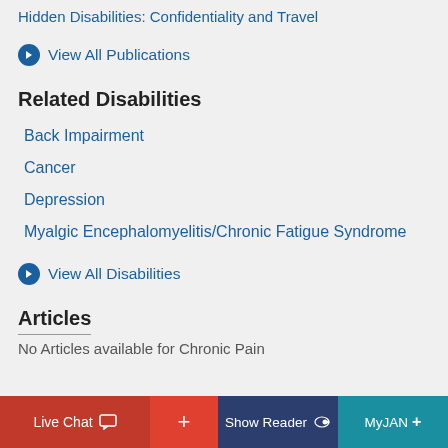Hidden Disabilities: Confidentiality and Travel
➔ View All Publications
Related Disabilities
Back Impairment
Cancer
Depression
Myalgic Encephalomyelitis/Chronic Fatigue Syndrome
➔ View All Disabilities
Articles
No Articles available for Chronic Pain
Live Chat   +   Show Reader   MyJAN+